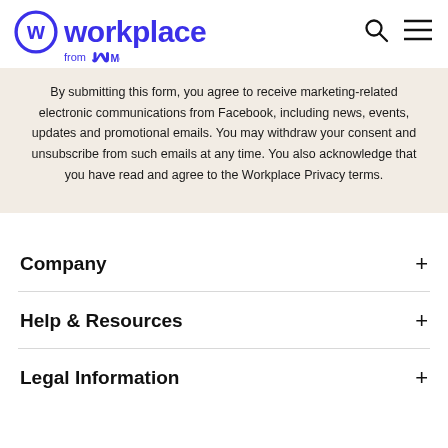workplace from Meta
By submitting this form, you agree to receive marketing-related electronic communications from Facebook, including news, events, updates and promotional emails. You may withdraw your consent and unsubscribe from such emails at any time. You also acknowledge that you have read and agree to the Workplace Privacy terms.
Company
Help & Resources
Legal Information